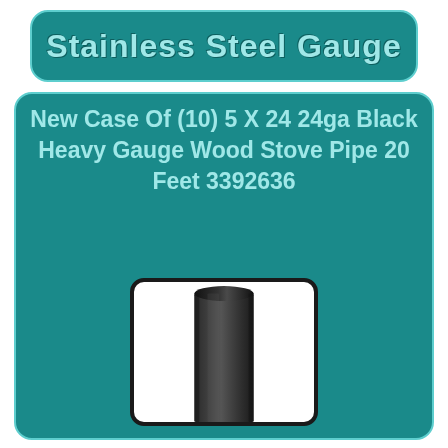Stainless Steel Gauge
New Case Of (10) 5 X 24 24ga Black Heavy Gauge Wood Stove Pipe 20 Feet 3392636
[Figure (photo): Black heavy gauge cylindrical stove pipe section shown vertically against white background]